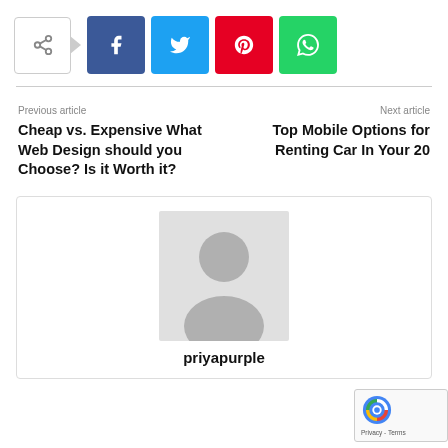[Figure (infographic): Social share bar with share icon box and arrow, followed by Facebook (blue), Twitter (cyan), Pinterest (red), and WhatsApp (green) buttons]
Previous article
Cheap vs. Expensive What Web Design should you Choose? Is it Worth it?
Next article
Top Mobile Options for Renting Car In Your 20
[Figure (photo): Author profile card with generic grey avatar silhouette and author name 'priyapurple']
[Figure (other): reCAPTCHA privacy badge with logo and 'Privacy - Terms' text]